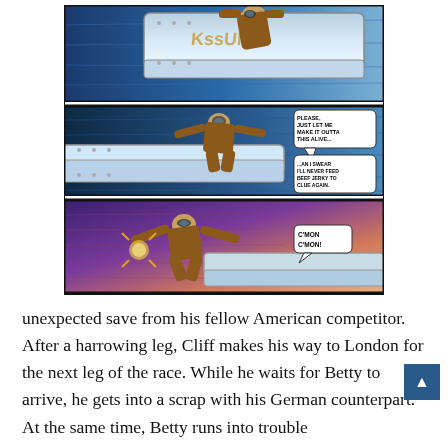[Figure (illustration): Three-panel comic strip showing a pilot in a brown flight suit and goggles clinging to the outside of a blue aircraft. Panel 1 (top): pilot holding onto the top of the plane, 'KSSUNK' lettering visible. Panel 2 (middle): pilot spread-eagled on the plane with speech bubble 'PLEASE, JUST LET ME MAKE IT OUTTA THIS ALIVE...' and another bubble '...AN I SWEAR I'LL NEVER FEED BEEF JERKY TO CLUE AGAIN'. Panel 3 (bottom): pilot on the outside of the plane against a purple/orange sunset sky with speech bubble 'C'MON C'MON'.]
unexpected save from his fellow American competitor. After a harrowing leg, Cliff makes his way to London for the next leg of the race. While he waits for Betty to arrive, he gets into a scrap with his German counterpart. At the same time, Betty runs into trouble